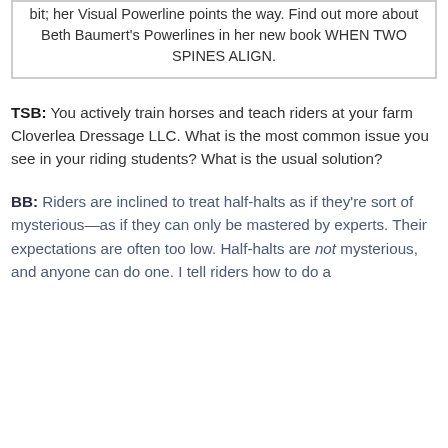bit; her Visual Powerline points the way. Find out more about Beth Baumert's Powerlines in her new book WHEN TWO SPINES ALIGN.
TSB: You actively train horses and teach riders at your farm Cloverlea Dressage LLC. What is the most common issue you see in your riding students? What is the usual solution?
BB: Riders are inclined to treat half-halts as if they're sort of mysterious—as if they can only be mastered by experts. Their expectations are often too low. Half-halts are not mysterious, and anyone can do one. I tell riders how to do a